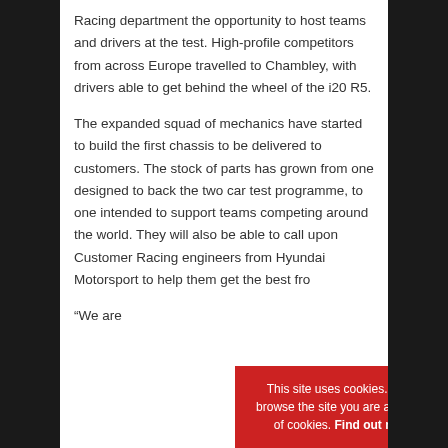Racing department the opportunity to host teams and drivers at the test. High-profile competitors from across Europe travelled to Chambley, with drivers able to get behind the wheel of the i20 R5.
The expanded squad of mechanics have started to build the first chassis to be delivered to customers. The stock of parts has grown from one designed to back the two car test programme, to one intended to support teams competing around the world. They will also be able to call upon Customer Racing engineers from Hyundai Motorsport to help them get the best fro...
“We are...
This site uses cookies. By continuing to browse the site you are agreeing to our use of cookies. Find out more here   [X]